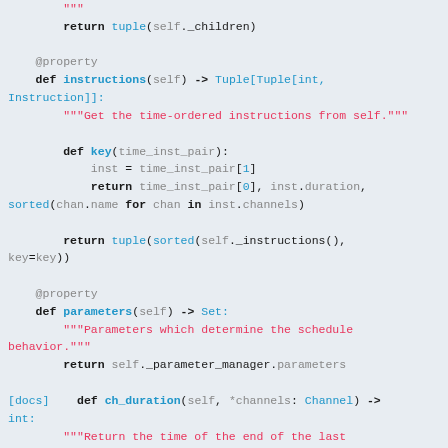[Figure (screenshot): Python source code block showing methods: instructions property and parameters property and ch_duration method with docstrings and return statements, syntax highlighted in monospace font on light blue-grey background.]